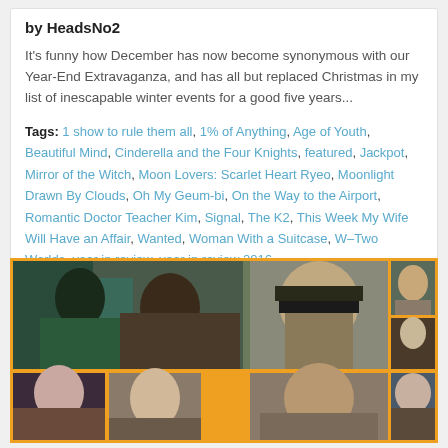by HeadsNo2
It's funny how December has now become synonymous with our Year-End Extravaganza, and has all but replaced Christmas in my list of inescapable winter events for a good five years...
Tags: 1 show to rule them all, 1% of Anything, Age of Youth, Beautiful Mind, Cinderella and the Four Knights, featured, Jackpot, Mirror of the Witch, Moon Lovers: Scarlet Heart Ryeo, Moonlight Drawn By Clouds, Oh My Geum-bi, On the Way to the Airport, Romantic Doctor Teacher Kim, Signal, The K2, This Week My Wife Will Have an Affair, Wanted, Woman With a Suitcase, W-Two Worlds, year in review, year in review 2016
[Figure (photo): Collage of Korean drama actors and actresses arranged in a grid with orange borders]